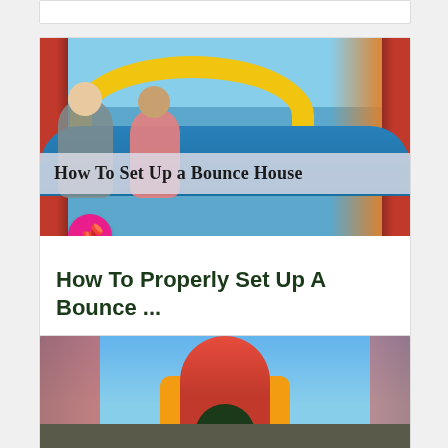[Figure (photo): Partial top card placeholder - white card strip at top of page]
[Figure (photo): Article card showing a bounce house with a man and girl, with text overlay reading 'How To Set Up a Bounce House', pink Pinterest pin button, and article title 'How To Properly Set Up A Bounce ...']
How To Properly Set Up A Bounce ...
[Figure (photo): Partial bottom card showing a large inflatable bounce house against blue sky, with red, yellow, and dark arch entrance]